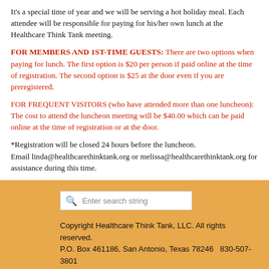It's a special time of year and we will be serving a hot holiday meal.  Each attendee will be responsible for paying for his/her own lunch at the Healthcare Think Tank meeting.
FOR MEMBERS AND 1ST-TIME GUESTS:  There are two options when paying for lunch.  The first option is $20 per person if paid online at the time of registration.  The second option is $25 at the door even if you are preregistered.
FOR FREQUENT VISITORS (who have attended more than one luncheon):  The cost to attend the luncheon meeting will be $40.00 which can be paid online at the time of registration or at the door.
*Registration will be closed 24 hours before the luncheon.
Email linda@healthcarethinktank.org or melissa@healthcarethinktank.org for assistance during this time.
[Figure (other): Search bar with placeholder text 'Enter search string' on orange background footer]
Copyright Healthcare Think Tank, LLC. All rights reserved.
P.O. Box 461186, San Antonio, Texas 78246   830-507-3801